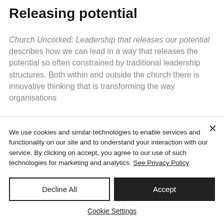Releasing potential
Church Uncorked: Leadership that releases our potential describes how we can lead in a way that releases the potential so often constrained by traditional leadership structures. Both within and outside the church there is innovative thinking that is transforming the way organisations
We use cookies and similar technologies to enable services and functionality on our site and to understand your interaction with our service. By clicking on accept, you agree to our use of such technologies for marketing and analytics. See Privacy Policy
Decline All
Accept
Cookie Settings